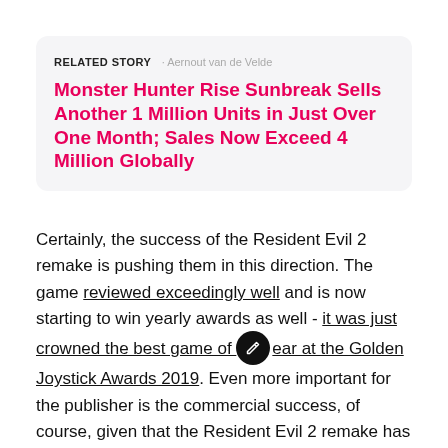RELATED STORY · Aernout van de Velde
Monster Hunter Rise Sunbreak Sells Another 1 Million Units in Just Over One Month; Sales Now Exceed 4 Million Globally
Certainly, the success of the Resident Evil 2 remake is pushing them in this direction. The game reviewed exceedingly well and is now starting to win yearly awards as well - it was just crowned the best game of year at the Golden Joystick Awards 2019. Even more important for the publisher is the commercial success, of course, given that the Resident Evil 2 remake has sold almost five million units globally. Still,